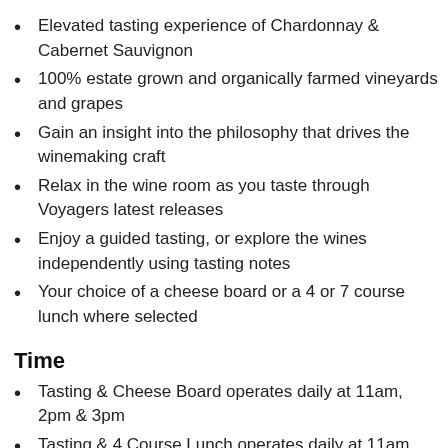Elevated tasting experience of Chardonnay & Cabernet Sauvignon
100% estate grown and organically farmed vineyards and grapes
Gain an insight into the philosophy that drives the winemaking craft
Relax in the wine room as you taste through Voyagers latest releases
Enjoy a guided tasting, or explore the wines independently using tasting notes
Your choice of a cheese board or a 4 or 7 course lunch where selected
Time
Tasting & Cheese Board operates daily at 11am, 2pm & 3pm
Tasting & 4 Course Lunch operates daily at 11am, 12pm & 1pm
Tasting & 7 Course lunch operates daily at 11am, 12...